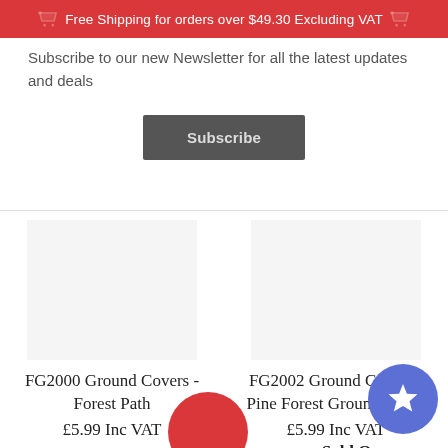Free Shipping for orders over $49.30 Excluding VAT
Subscribe to our new Newsletter for all the latest updates and deals
Subscribe
FG2000 Ground Covers - Forest Path £5.99 Inc VAT
FG2002 Ground Covers - Pine Forest Ground Cover £5.99 Inc VAT — Sold O…